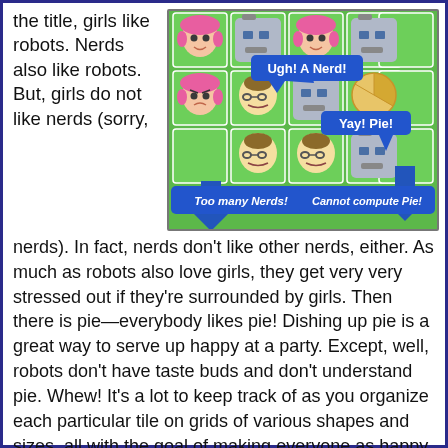the title, girls like robots. Nerds also like robots. But, girls do not like nerds (sorry, nerds).
[Figure (screenshot): Game screenshot showing a grid puzzle with cartoon character tiles (girls with pink hair, nerds with glasses, robots). Blue arrow speech bubbles show labels: 'Ugh! A Nerd!', 'Yay! Pie!', 'Too many Nerds!', 'Cannot compute Pie!'. Green background with pizza/pie tile visible.]
nerds). In fact, nerds don't like other nerds, either. As much as robots also love girls, they get very very stressed out if they're surrounded by girls. Then there is pie—everybody likes pie! Dishing up pie is a great way to serve up happy at a party. Except, well, robots don't have taste buds and don't understand pie. Whew! It's a lot to keep track of as you organize each particular tile on grids of various shapes and sizes, all with the goal of making everyone as happy as possible despite their finicky quirks.